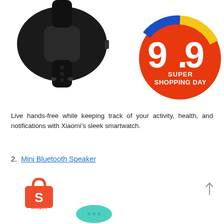[Figure (photo): Black Xiaomi smartwatch/fitness band with silicone strap, shown from top-left angle]
[Figure (logo): 9.9 Super Shopping Day badge — orange circle with blue and yellow accents, white text '9.9 SUPER SHOPPING DAY']
Live hands-free while keeping track of your activity, health, and notifications with Xiaomi's sleek smartwatch.
2.  Mini Bluetooth Speaker
[Figure (logo): Shopee logo — orange shopping bag with 'S' and 'Shopee' label below]
[Figure (photo): Teal/mint colored mini Bluetooth speaker, partially visible at bottom of page]